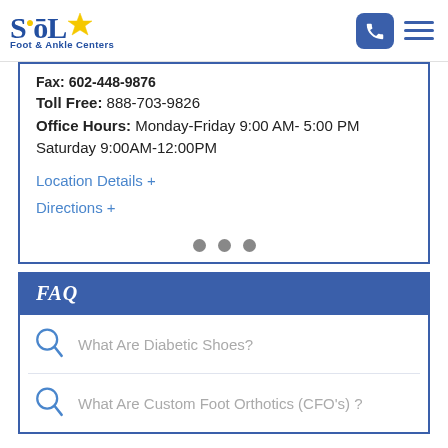Sol Foot & Ankle Centers - logo and navigation
Fax: 602-448-9876
Toll Free: 888-703-9826
Office Hours: Monday-Friday 9:00 AM- 5:00 PM Saturday 9:00AM-12:00PM
Location Details +
Directions +
FAQ
What Are Diabetic Shoes?
What Are Custom Foot Orthotics (CFO's) ?